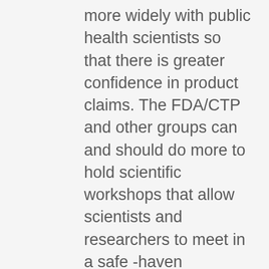more widely with public health scientists so that there is greater confidence in product claims. The FDA/CTP and other groups can and should do more to hold scientific workshops that allow scientists and researchers to meet in a safe -haven environment and where opportunities would be allowed for seemingly opposing interests to find common ground in areas of science, research and innovation. Innovators of products should not be shut out because some regard them as industry.